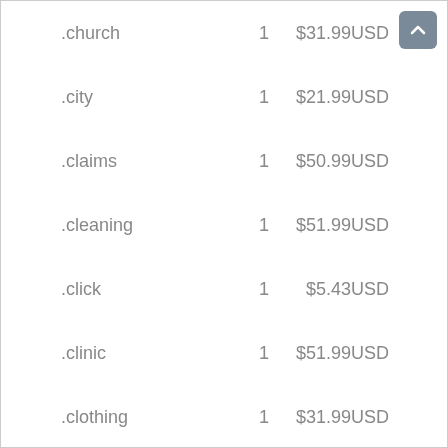| .church | 1 | $31.99USD |
| .city | 1 | $21.99USD |
| .claims | 1 | $50.99USD |
| .cleaning | 1 | $51.99USD |
| .click | 1 | $5.43USD |
| .clinic | 1 | $51.99USD |
| .clothing | 1 | $31.99USD |